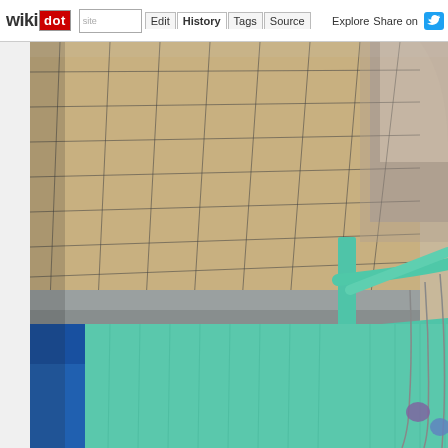wikidot | site | Edit | History | Tags | Source | Explore | Share on Twitter
[Figure (photo): A close-up photograph of a construction or sports facility scene showing a wire mesh fence or net panel in the upper portion (sandy/beige colored background visible through wire grid), with a teal/mint green metal railing or barrier structure in the lower portion, and a blue container or structure visible at the bottom left. Camera angle is from above looking slightly downward.]